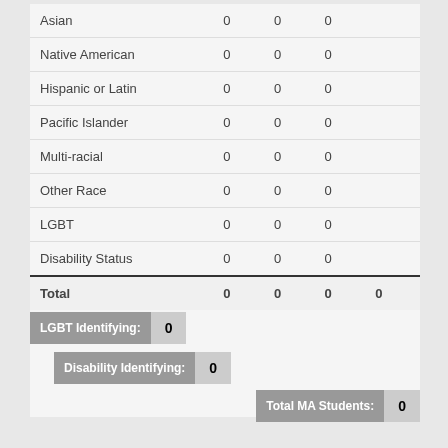|  |  |  |  |  |
| --- | --- | --- | --- | --- |
| Asian | 0 | 0 | 0 |  |
| Native American | 0 | 0 | 0 |  |
| Hispanic or Latin | 0 | 0 | 0 |  |
| Pacific Islander | 0 | 0 | 0 |  |
| Multi-racial | 0 | 0 | 0 |  |
| Other Race | 0 | 0 | 0 |  |
| LGBT | 0 | 0 | 0 |  |
| Disability Status | 0 | 0 | 0 |  |
| Total | 0 | 0 | 0 | 0 |
LGBT Identifying: 0
Disability Identifying: 0
Total MA Students: 0